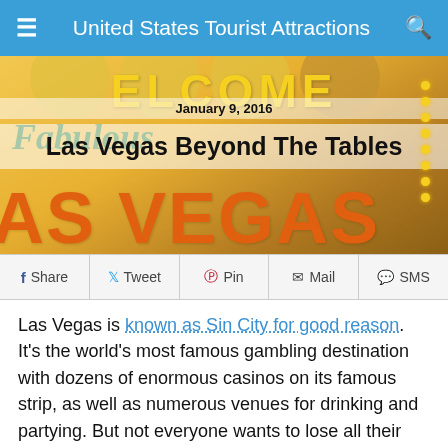United States Tourist Attractions
[Figure (photo): Las Vegas Welcome sign photo with orange and yellow colors, showing 'Welcome' at top, 'Fabulous' in green italic script, and 'Las Vegas' in large orange letters at bottom, with gold dots on the right side]
January 9, 2016
Las Vegas Beyond The Tables
Share  Tweet  Pin  Mail  SMS
Las Vegas is known as Sin City for good reason. It's the world's most famous gambling destination with dozens of enormous casinos on its famous strip, as well as numerous venues for drinking and partying. But not everyone wants to lose all their money on the tables or get blind drunk during the night. And even if you do, we recommend that you don't spend all your